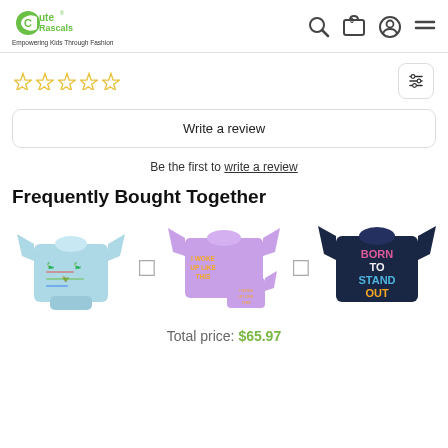Cute Rascals – Empowering Kids Through Fashion
[Figure (other): Five empty star rating icons in yellow outline]
Write a review
Be the first to write a review
Frequently Bought Together
[Figure (photo): Three children's t-shirts/onesies shown side by side: a light blue dinosaur onesie, a purple 'I Woke Up Like This' t-shirt set, and a navy 'Born To Stand Out' t-shirt, connected by plus icons]
Total price: $65.97